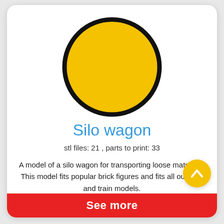[Figure (illustration): Large yellow circle with thick black border representing a product image placeholder for Silo wagon]
Silo wagon
stl files: 21 , parts to print: 33
A model of a silo wagon for transporting loose materials. This model fits popular brick figures and fits all our ship and train models. Ready to print on nano 3D printers (min. required printing area 80*80*75mm). Easy to print - no need any supports, brims or raf
[Figure (illustration): Yellow circular scroll-up button with white chevron arrow pointing up]
See more